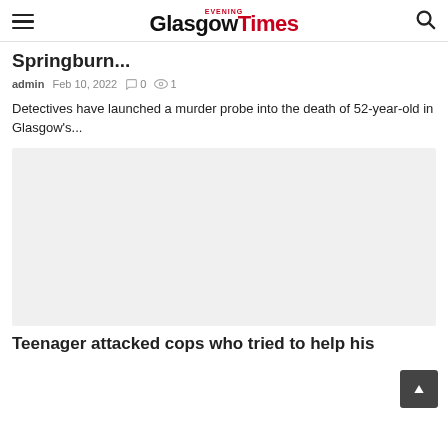Glasgow Evening Times
Springburn...
admin  Feb 10, 2022  0  1
Detectives have launched a murder probe into the death of 52-year-old in Glasgow's...
[Figure (photo): Article image placeholder (light grey box)]
Teenager attacked cops who tried to help his